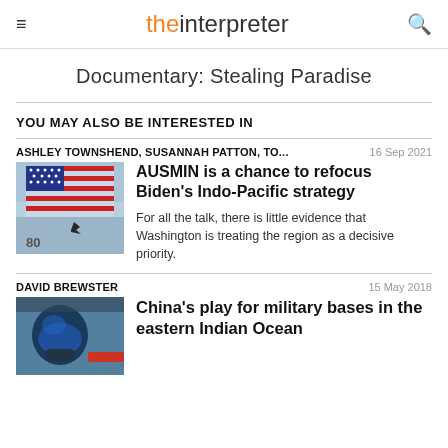≡  theinterpreter  🔍
Documentary: Stealing Paradise
YOU MAY ALSO BE INTERESTED IN
ASHLEY TOWNSHEND, SUSANNAH PATTON, TO...   16 Sep 2021
[Figure (photo): Photo of an American flag on an aircraft with a bird perched below]
AUSMIN is a chance to refocus Biden's Indo-Pacific strategy
For all the talk, there is little evidence that Washington is treating the region as a decisive priority.
DAVID BREWSTER   15 May 2018
[Figure (photo): Photo of a pilot in cockpit]
China's play for military bases in the eastern Indian Ocean